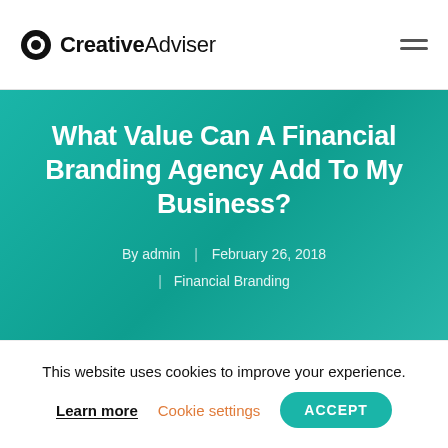CreativeAdviser
What Value Can A Financial Branding Agency Add To My Business?
By admin | February 26, 2018 | Financial Branding
[Figure (photo): Partial view of a person in a dark shirt, with a yellow object in the background, image appears as a rounded rectangle card below the hero banner.]
This website uses cookies to improve your experience.
Learn more  Cookie settings  ACCEPT